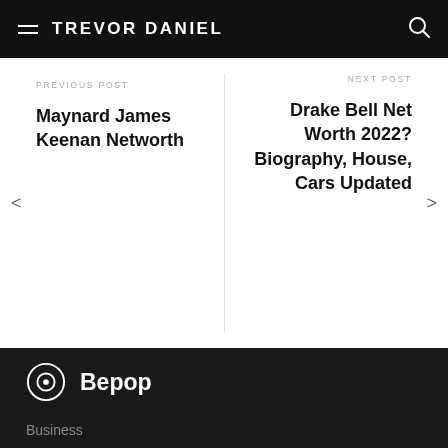TREVOR DANIEL
PREVIOUS POST
Maynard James Keenan Networth
NEXT POST
Drake Bell Net Worth 2022? Biography, House, Cars Updated
Bepop
Business